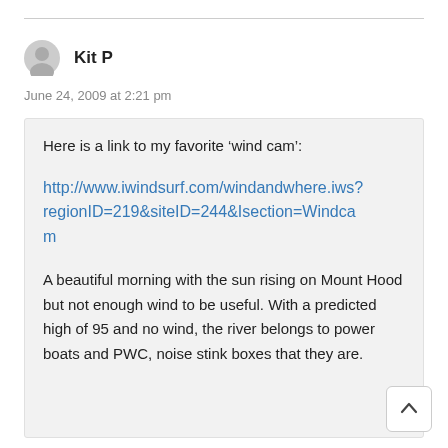Kit P
June 24, 2009 at 2:21 pm
Here is a link to my favorite ‘wind cam’:
http://www.iwindsurf.com/windandwhere.iws?regionID=219&siteID=244&Isection=Windcam
A beautiful morning with the sun rising on Mount Hood but not enough wind to be useful. With a predicted high of 95 and no wind, the river belongs to power boats and PWC, noise stink boxes that they are.